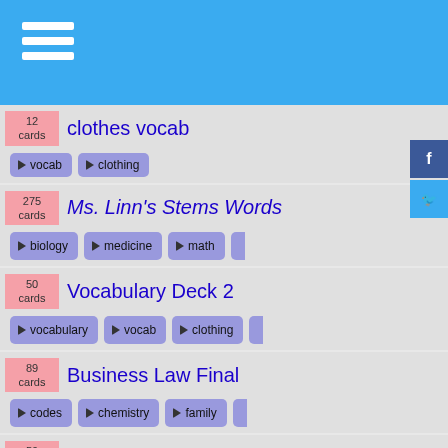Navigation menu header bar
12 cards — clothes vocab — tags: vocab, clothing
275 cards — Ms. Linn's Stems Words — tags: biology, medicine, math, (more)
50 cards — Vocabulary Deck 2 — tags: vocabulary, vocab, clothing, (more)
89 cards — Business Law Final — tags: codes, chemistry, family, (more)
50 cards — spanish La Tienda de Ropa — tags: clothing, food
105 cards — The Upstairs Room — tags: pages, months, religion, (more)
4961 cards — 5000 SAT Words